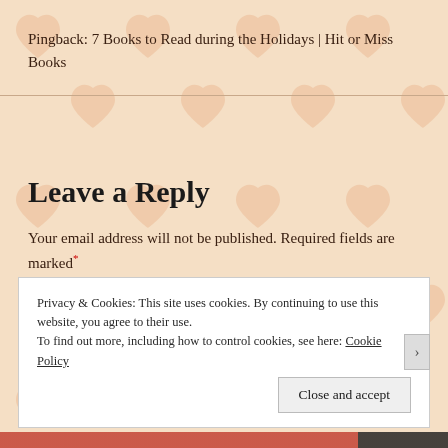Pingback: 7 Books to Read during the Holidays | Hit or Miss Books
Leave a Reply
Your email address will not be published. Required fields are marked*
Comment*
Privacy & Cookies: This site uses cookies. By continuing to use this website, you agree to their use. To find out more, including how to control cookies, see here: Cookie Policy
Close and accept